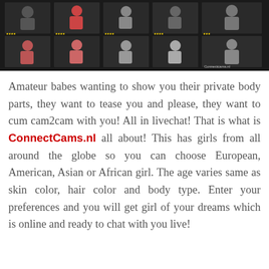[Figure (screenshot): Screenshot of ConnectCams.nl website showing a grid of webcam thumbnail images of women on a dark background interface]
Amateur babes wanting to show you their private body parts, they want to tease you and please, they want to cum cam2cam with you! All in livechat! That is what is ConnectCams.nl all about! This has girls from all around the globe so you can choose European, American, Asian or African girl. The age varies same as skin color, hair color and body type. Enter your preferences and you will get girl of your dreams which is online and ready to chat with you live!